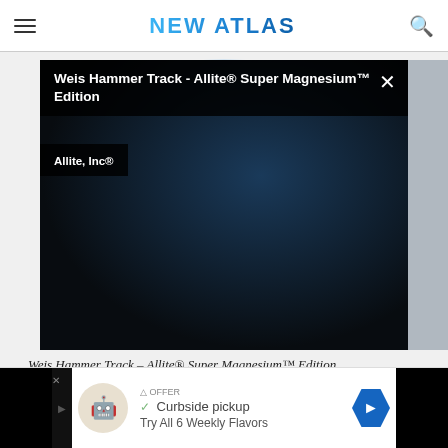NEW ATLAS
[Figure (screenshot): Video embed with dark background showing 'Weis Hammer Track - Allite® Super Magnesium™ Edition' title bar and 'Allite, Inc®' brand bar overlay on dark video thumbnail, with close (×) button]
Weis Hammer Track – Allite® Super Magnesium™ Edition
[Figure (other): Advertisement banner showing Curbside pickup offer with navigation/delivery icon and text 'Try All 6 Weekly Flavors']